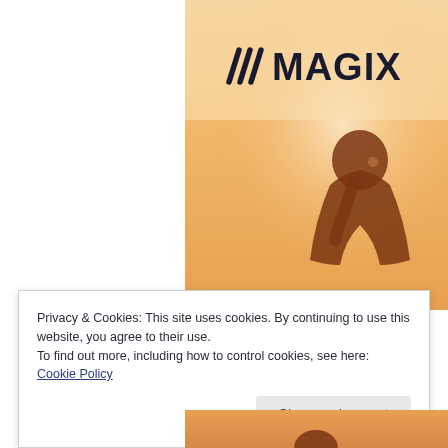[Figure (photo): MAGIX logo and photo of a person (silhouette) with warm orange/golden background tones]
Privacy & Cookies: This site uses cookies. By continuing to use this website, you agree to their use.
To find out more, including how to control cookies, see here: Cookie Policy
Close and accept